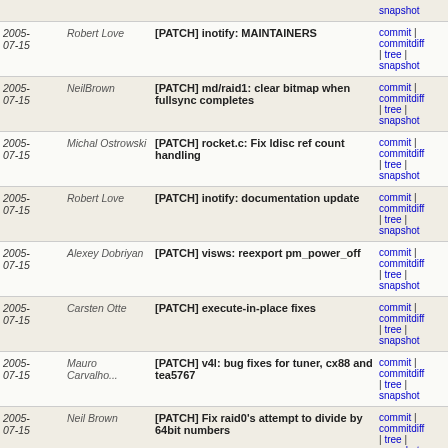| Date | Author | Commit message | Links |
| --- | --- | --- | --- |
|  |  |  | snapshot |
| 2005-07-15 | Robert Love | [PATCH] inotify: MAINTAINERS | commit | commitdiff | tree | snapshot |
| 2005-07-15 | NeilBrown | [PATCH] md/raid1: clear bitmap when fullsync completes | commit | commitdiff | tree | snapshot |
| 2005-07-15 | Michal Ostrowski | [PATCH] rocket.c: Fix ldisc ref count handling | commit | commitdiff | tree | snapshot |
| 2005-07-15 | Robert Love | [PATCH] inotify: documentation update | commit | commitdiff | tree | snapshot |
| 2005-07-15 | Alexey Dobriyan | [PATCH] visws: reexport pm_power_off | commit | commitdiff | tree | snapshot |
| 2005-07-15 | Carsten Otte | [PATCH] execute-in-place fixes | commit | commitdiff | tree | snapshot |
| 2005-07-15 | Mauro Carvalho... | [PATCH] v4l: bug fixes for tuner, cx88 and tea5767 | commit | commitdiff | tree | snapshot |
| 2005-07-15 | Neil Brown | [PATCH] Fix raid0's attempt to divide by 64bit numbers | commit | commitdiff | tree | snapshot |
| 2005-07-15 | Nishanth Aravamudan | [PATCH] vt.c build fix | commit | commitdiff | tree | snapshot |
| 2005-07-15 | Herbert Xu | [CRYPTO]: Fix zero-extension bug on 64-bit architectures. | commit | commitdiff | tree | snapshot |